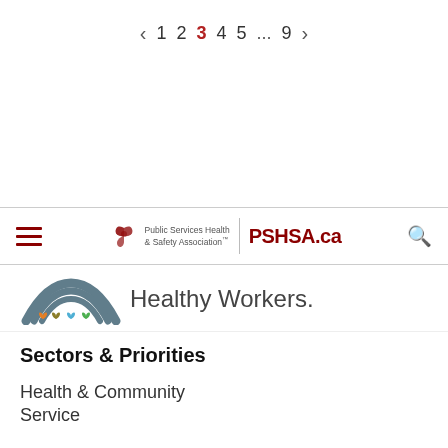< 1 2 3 4 5 ... 9 >
[Figure (logo): PSHSA navigation bar with hamburger menu, Public Services Health & Safety Association logo, PSHSA.ca wordmark, and search icon]
[Figure (logo): Healthy Workers rainbow logo with colorful hearts and rainbow arches]
Sectors & Priorities
Health & Community Service
Government &